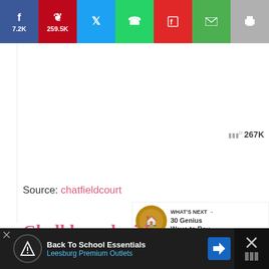[Figure (screenshot): Social media share bar with Facebook (7.2K), Pinterest (259.5K), Twitter, WhatsApp, Flipboard, Email, and Print buttons]
[Figure (screenshot): Heart/like button (teal circle) with 267K count, and share icon button below]
Source: chatfieldcourt
[Figure (screenshot): What's Next panel showing '30 Genius Ways to Reu...' with thumbnail image]
Chalkboard with Salvaged
[Figure (screenshot): Advertisement bar: Back To School Essentials - Leesburg Premium Outlets]